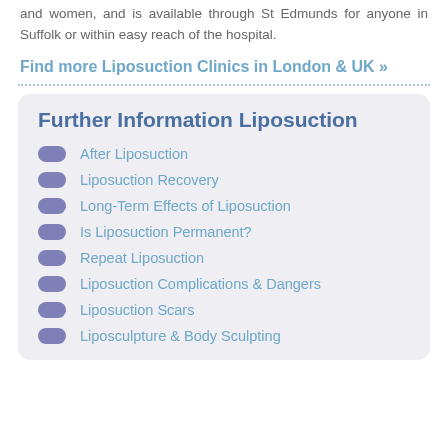and women, and is available through St Edmunds for anyone in Suffolk or within easy reach of the hospital.
Find more Liposuction Clinics in London & UK »
Further Information Liposuction
After Liposuction
Liposuction Recovery
Long-Term Effects of Liposuction
Is Liposuction Permanent?
Repeat Liposuction
Liposuction Complications & Dangers
Liposuction Scars
Liposculpture & Body Sculpting